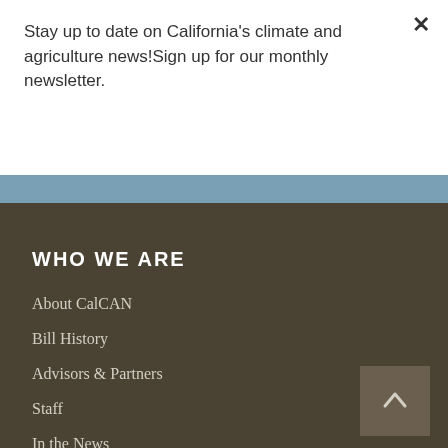Stay up to date on California's climate and agriculture news!Sign up for our monthly newsletter.
Subscribe
WHO WE ARE
About CalCAN
Bill History
Advisors & Partners
Staff
In the News